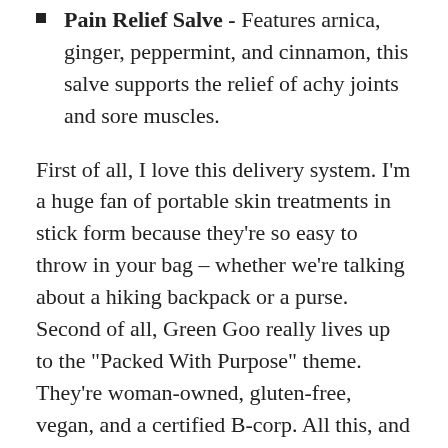Pain Relief Salve - Features arnica, ginger, peppermint, and cinnamon, this salve supports the relief of achy joints and sore muscles.
First of all, I love this delivery system. I'm a huge fan of portable skin treatments in stick form because they're so easy to throw in your bag – whether we're talking about a hiking backpack or a purse. Second of all, Green Goo really lives up to the "Packed With Purpose" theme. They're woman-owned, gluten-free, vegan, and a certified B-corp. All this, and these products are small and light, making them a no-nonsense addition to any outdoor adventure. I